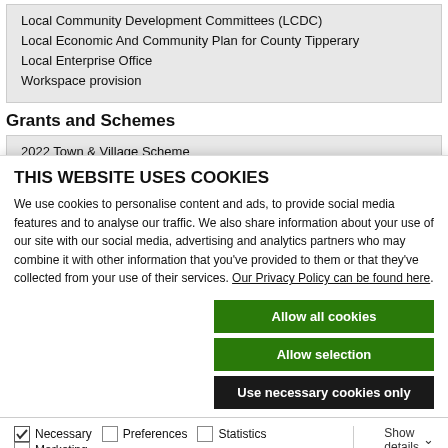Local Community Development Committees (LCDC)
Local Economic And Community Plan for County Tipperary
Local Enterprise Office
Workspace provision
Grants and Schemes
2022 Town & Village Scheme
CLÁR 2022 – Measure 1: Developing Community Facilities &
THIS WEBSITE USES COOKIES
We use cookies to personalise content and ads, to provide social media features and to analyse our traffic. We also share information about your use of our site with our social media, advertising and analytics partners who may combine it with other information that you've provided to them or that they've collected from your use of their services. Our Privacy Policy can be found here.
Allow all cookies
Allow selection
Use necessary cookies only
Necessary  Preferences  Statistics  Marketing  Show details